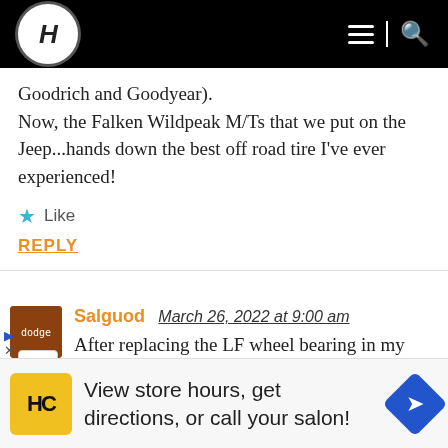H (logo) | menu | search
Goodrich and Goodyear).
Now, the Falken Wildpeak M/Ts that we put on the Jeep...hands down the best off road tire I've ever experienced!
★ Like
REPLY
Salguod  March 26, 2022 at 9:00 am
After replacing the LF wheel bearing in my daughter's Protege because the symptoms
View store hours, get directions, or call your salon!